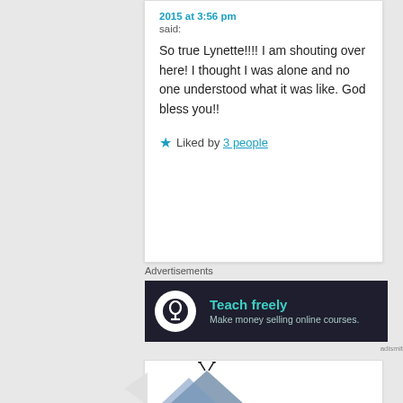2015 at 3:56 pm
said:
So true Lynette!!!! I am shouting over here! I thought I was alone and no one understood what it was like. God bless you!!
Liked by 3 people
Advertisements
[Figure (infographic): Dark advertisement banner reading 'Teach freely – Make money selling online courses.' with a circular icon on the left.]
[Figure (illustration): Bottom of next comment card with illustration partially visible.]